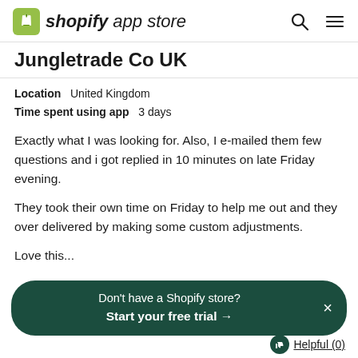shopify app store
Jungletrade Co UK
Location   United Kingdom
Time spent using app   3 days
Exactly what I was looking for. Also, I e-mailed them few questions and i got replied in 10 minutes on late Friday evening.

They took their own time on Friday to help me out and they over delivered by making some custom adjustments.

Love this...
Don't have a Shopify store? Start your free trial →
Helpful (0)